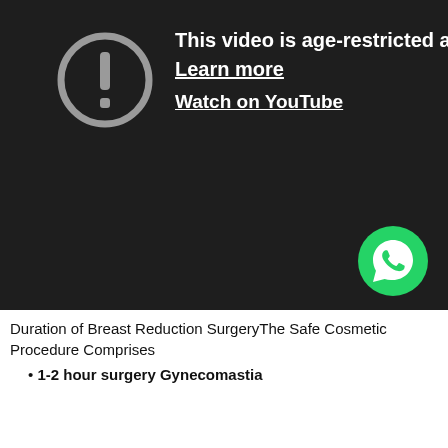[Figure (screenshot): YouTube age-restricted video placeholder on dark background. Shows a grey circle exclamation icon on the left, text 'This video is age-restricted a...' with 'Learn more' and 'Watch on YouTube' links in white. A WhatsApp icon appears in the bottom right corner of the video area.]
Duration of Breast Reduction SurgeryThe Safe Cosmetic Procedure Comprises
1-2 hour surgery Gynecomastia